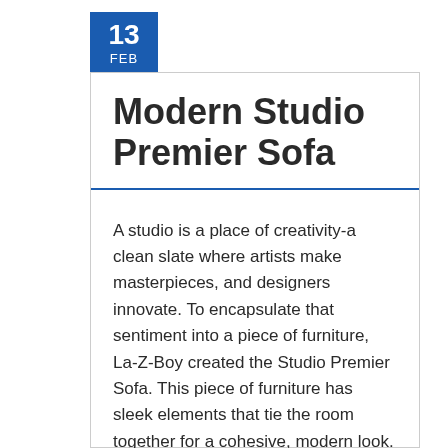13 FEB
Modern Studio Premier Sofa
A studio is a place of creativity-a clean slate where artists make masterpieces, and designers innovate. To encapsulate that sentiment into a piece of furniture, La-Z-Boy created the Studio Premier Sofa. This piece of furniture has sleek elements that tie the room together for a cohesive, modern look.
The sofa features straight lines, except for the slightly sloped track arms. The